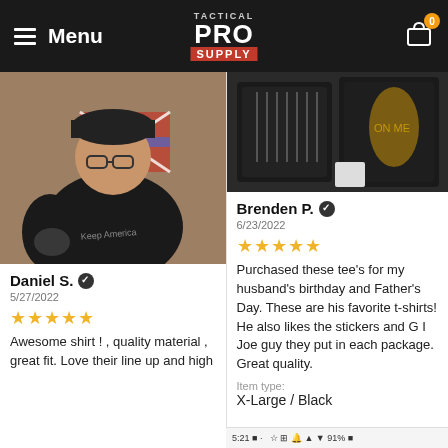≡ Menu | TACTICAL PRO SUPPLY
[Figure (photo): Man wearing black t-shirt and cap, taking a selfie with Confederate flag in background]
Daniel S. ✓
5/27/2022
★★★★★
Awesome shirt ! , quality material , great fit. Love their line up and high
[Figure (photo): Dark folded t-shirts with graphic print]
Brenden P. ✓
6/23/2022
★★★★★
Purchased these tee's for my husband's birthday and Father's Day. These are his favorite t-shirts! He also likes the stickers and G I Joe guy they put in each package. Great quality.
Item type:
X-Large / Black
5:21 · 91%